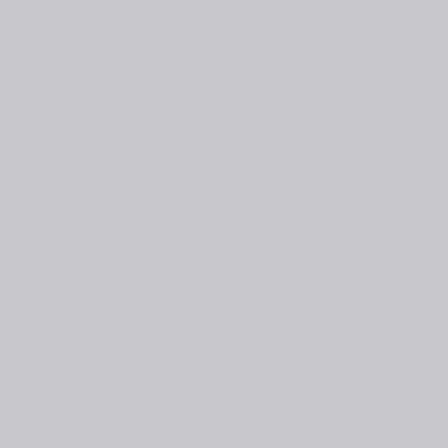pic my hill to die on ca 64 I wil win the mo im arg 65 I b